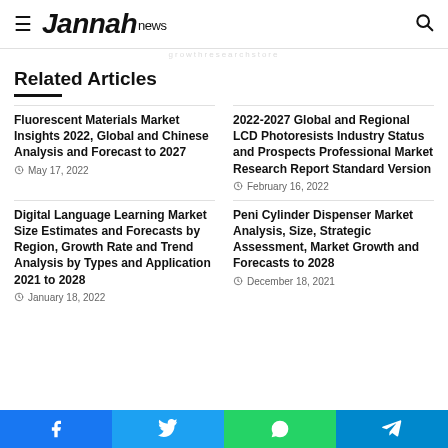≡ Jannah news [search icon]
Related Articles
Fluorescent Materials Market Insights 2022, Global and Chinese Analysis and Forecast to 2027 — May 17, 2022
2022-2027 Global and Regional LCD Photoresists Industry Status and Prospects Professional Market Research Report Standard Version — February 16, 2022
Digital Language Learning Market Size Estimates and Forecasts by Region, Growth Rate and Trend Analysis by Types and Application 2021 to 2028 — January 18, 2022
Peni Cylinder Dispenser Market Analysis, Size, Strategic Assessment, Market Growth and Forecasts to 2028 — December 18, 2021